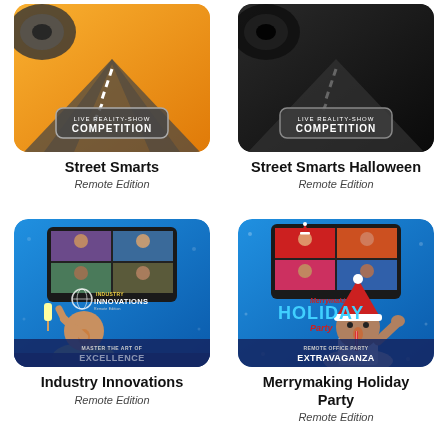[Figure (illustration): Street Smarts game thumbnail with orange background, road graphic, and 'Live Reality-Show Competition' badge]
[Figure (illustration): Street Smarts Halloween game thumbnail with black background, road graphic, and 'Live Reality-Show Competition' badge]
Street Smarts
Remote Edition
Street Smarts Halloween
Remote Edition
[Figure (illustration): Industry Innovations game thumbnail with blue background, video-call screen, man with surprised face holding popsicle, logo, and 'Master the Art of Excellence' text]
[Figure (illustration): Merrymaking Holiday Party game thumbnail with blue background, video-call screen with holiday-dressed people, man in Santa hat, and 'Remote Office Party Extravaganza' text]
Industry Innovations
Remote Edition
Merrymaking Holiday Party
Remote Edition